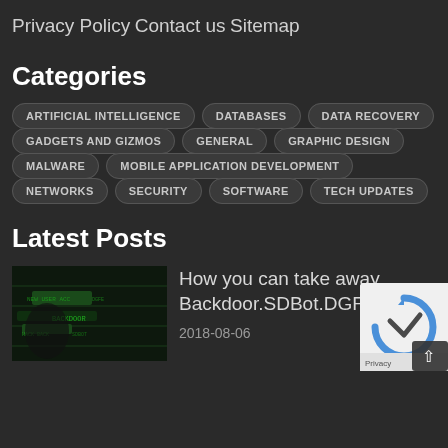Privacy Policy
Contact us
Sitemap
Categories
ARTIFICIAL INTELLIGENCE
DATABASES
DATA RECOVERY
GADGETS AND GIZMOS
GENERAL
GRAPHIC DESIGN
MALWARE
MOBILE APPLICATION DEVELOPMENT
NETWORKS
SECURITY
SOFTWARE
TECH UPDATES
Latest Posts
How you can take away Backdoor.SDBot.DGFE
2018-08-06